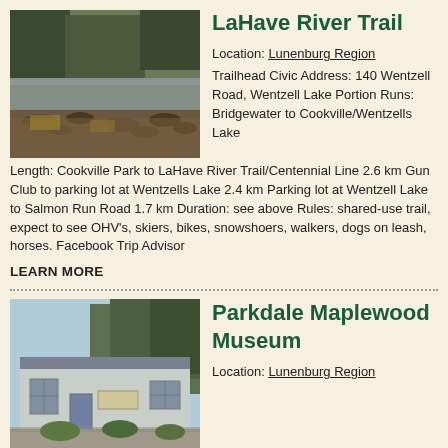[Figure (photo): Outdoor nature photo showing a river or lake scene with trees, rocky shoreline, and autumn foliage]
LaHave River Trail
Location: Lunenburg Region
Trailhead Civic Address: 140 Wentzell Road, Wentzell Lake Portion Runs: Bridgewater to Cookville/Wentzells Lake
Length: Cookville Park to LaHave River Trail/Centennial Line 2.6 km Gun Club to parking lot at Wentzells Lake 2.4 km Parking lot at Wentzell Lake to Salmon Run Road 1.7 km Duration: see above Rules: shared-use trail, expect to see OHV's, skiers, bikes, snowshoers, walkers, dogs on leash, horses. Facebook Trip Advisor
LEARN MORE
[Figure (photo): Photo of a small single-story building (Parkdale Maplewood Museum) with a gravel parking area and trees behind it]
Parkdale Maplewood Museum
Location: Lunenburg Region
Located inland from the